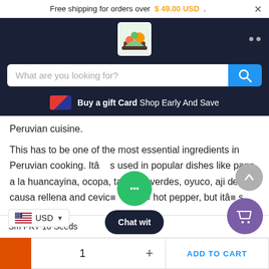Free shipping for orders over $49.00 USD .
[Figure (logo): Store logo with nature/food theme on dark nav bar]
What are you looking for?
Buy a gift Card Shop Early And Save
Peruvian cuisine.
This has to be one of the most essential ingredients in Peruvian cooking. Itâ s used in popular dishes like papa a la huancayina, ocopa, tamales verdes, oyuco, aji …, causa rellena and cevic… s not … hot pepper, but itâ s packed full of
Sm PKT-10 Seeds
1
ADD TO CART
USD
Chat wit
[Figure (screenshot): Chat widget bubble and cart icon overlays]